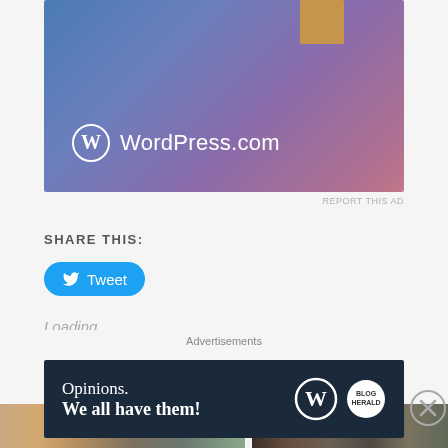[Figure (screenshot): WordPress.com advertisement banner with blue-to-pink gradient background, WordPress logo (circle W), and text 'WordPress.com']
REPORT THIS AD
SHARE THIS:
[Figure (screenshot): Blue Twitter/Tweet button with bird icon and text 'Tweet']
Loading...
RELATED
[Figure (photo): Related article thumbnail images at bottom of page]
Advertisements
[Figure (screenshot): Dark navy advertisement banner: 'Opinions. We all have them!' with WordPress logo and another circular logo]